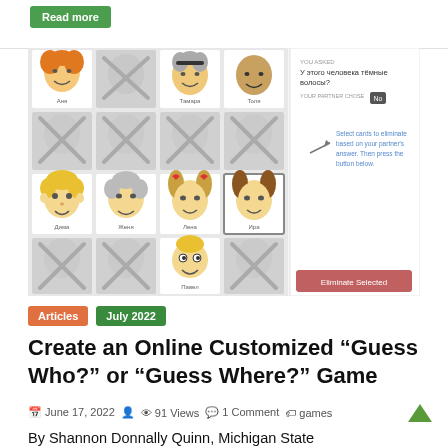Read more
[Figure (screenshot): Screenshot of an online Guess Who game interface in Russian, showing a 4x4 grid of cartoon character face cards with some eliminated (shown with X), and a panel on the right showing a question 'У этого человека тёмные волосы?' with 'No' answer, instructions to select cards to eliminate, and an 'Eliminate Selected' button.]
Articles
July 2022
Create an Online Customized "Guess Who?" or "Guess Where?" Game
June 17, 2022   91 Views   1 Comment   games
By Shannon Donnally Quinn, Michigan State